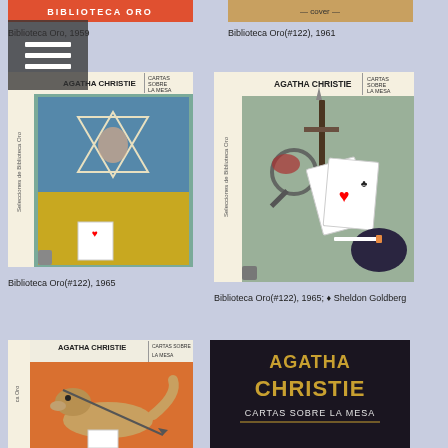[Figure (photo): Book cover: Agatha Christie - Biblioteca Oro (top left, partially visible, orange/red top bar)]
Biblioteca Oro, 1959
[Figure (photo): Book cover: Agatha Christie - Biblioteca Oro (#122), 1961 (top right, partially visible)]
Biblioteca Oro(#122), 1961
[Figure (photo): Book cover: Agatha Christie - Cartas Sobre La Mesa, Biblioteca Oro (#122), 1965, illustration with Star of David and face]
Biblioteca Oro(#122), 1965
[Figure (photo): Book cover: Agatha Christie - Cartas Sobre La Mesa, Biblioteca Oro (#122), 1965; Sheldon Goldberg, illustration with dagger, cards, and wine glass]
Biblioteca Oro(#122), 1965; ♦ Sheldon Goldberg
[Figure (photo): Book cover: Agatha Christie - Cartas Sobre La Mesa, Biblioteca Oro, partial view, orange background with weasel/ferret illustration]
[Figure (photo): Book cover: Agatha Christie - Cartas Sobre La Mesa, dark cover with gold text]